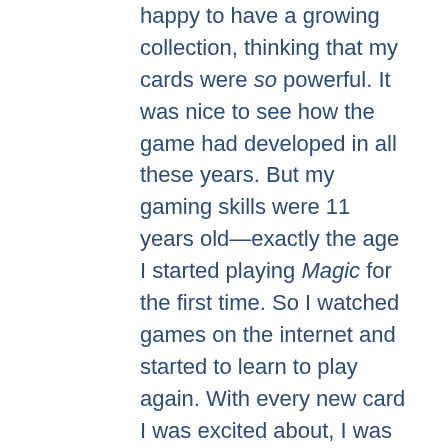happy to have a growing collection, thinking that my cards were so powerful. It was nice to see how the game had developed in all these years. But my gaming skills were 11 years old—exactly the age I started playing Magic for the first time. So I watched games on the internet and started to learn to play again. With every new card I was excited about, I was brewing new decks. Hours... Nights... Days...
I would stay awake for long periods thinking of new brews I could build. Magic was a way to busy myself and to push all the bad things in my head away. Plus, I really had concentration problems at the time. I was very forgetful. Even if my only plan for the day was to take my medicine, I forgot it